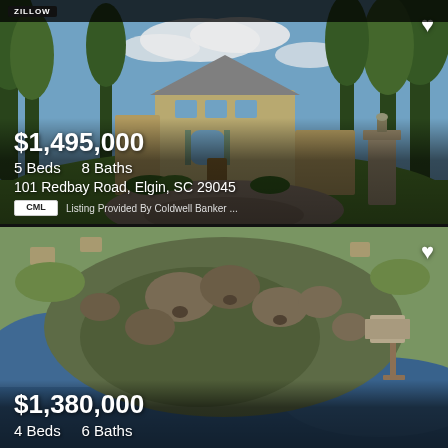[Figure (photo): Exterior photo of a large stone/brick luxury home with circular driveway, surrounded by lush green trees under a blue sky with clouds. A brick pillar with lantern is visible on the right.]
$1,495,000
5 Beds    8 Baths
101 Redbay Road, Elgin, SC 29045
Listing Provided By Coldwell Banker ...
[Figure (photo): Aerial drone photo of a lakefront property with wooded lot, showing lake access with dock, surrounded by bare winter trees and neighboring properties visible in background.]
$1,380,000
4 Beds    6 Baths